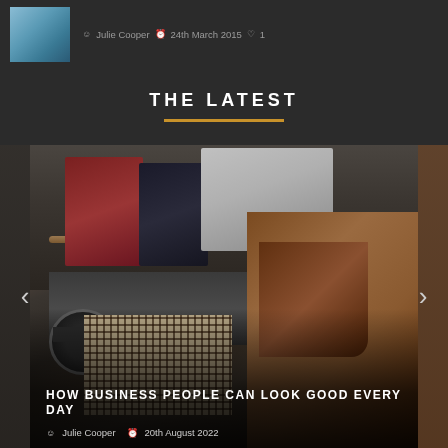[Figure (photo): Partial view of a lifestyle/fashion blog post thumbnail image at the top, with author meta: Julie Cooper, 24th March 2015, 1 comment]
Julie Cooper  24th March 2015  1
THE LATEST
[Figure (photo): Fashion/clothing carousel image showing hung shirts (red, navy, gray), folded pants, a wristwatch, plaid fabric, and brown brogue shoes arranged on a dark background. Navigation arrows on left and right sides.]
HOW BUSINESS PEOPLE CAN LOOK GOOD EVERY DAY
Julie Cooper  20th August 2022